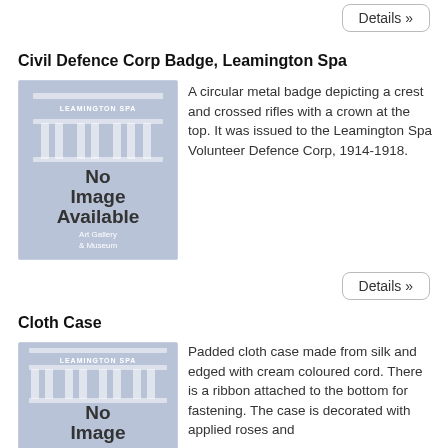Details »
Civil Defence Corp Badge, Leamington Spa
[Figure (illustration): Leamington Spa Art Gallery & Museum placeholder image showing 'No Image Available' with column icons on a blue-grey background]
A circular metal badge depicting a crest and crossed rifles with a crown at the top. It was issued to the Leamington Spa Volunteer Defence Corp, 1914-1918.
Details »
Cloth Case
[Figure (illustration): Leamington Spa Art Gallery & Museum placeholder image showing 'No Image Available' (partially visible)]
Padded cloth case made from silk and edged with cream coloured cord. There is a ribbon attached to the bottom for fastening. The case is decorated with applied roses and